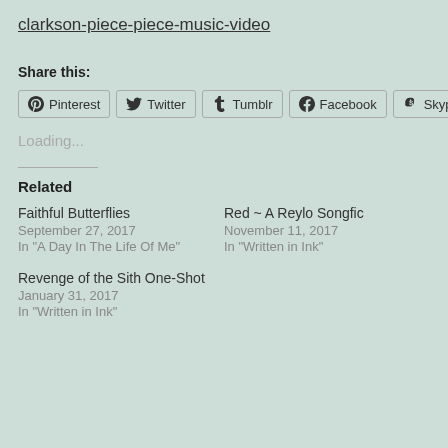clarkson-piece-piece-music-video
Share this:
Pinterest  Twitter  Tumblr  Facebook  Skype
Loading...
Related
Faithful Butterflies
September 27, 2017
In "A Day In The Life Of Me"
Red ~ A Reylo Songfic
November 11, 2017
In "Written in Ink"
Revenge of the Sith One-Shot
January 31, 2017
In "Written in Ink"